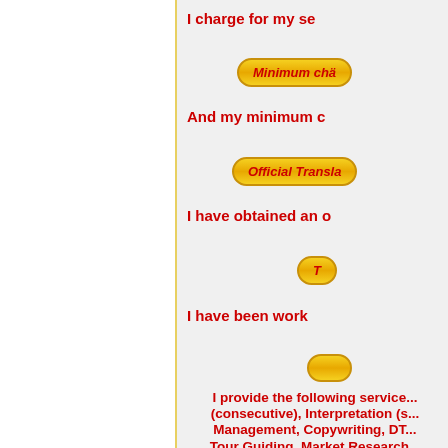I charge for my se...
[Figure (infographic): Yellow pill-shaped badge reading 'Minimum cha...']
And my minimum c...
[Figure (infographic): Yellow pill-shaped badge reading 'Official Transla...']
I have obtained an o...
[Figure (infographic): Yellow pill-shaped badge partially visible reading 'T...']
I have been work...
[Figure (infographic): Yellow pill-shaped badge partially visible]
I provide the following service... (consecutive), Interpretation (s... Management, Copywriting, DT... Tour Guiding, Market Research...